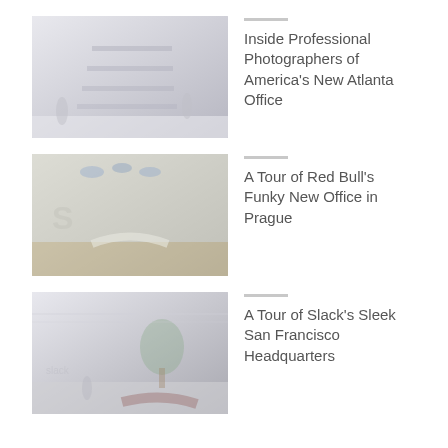[Figure (photo): Interior of Professional Photographers of America's new Atlanta office, showing a modern lobby with staircase, people walking, and bright open space.]
Inside Professional Photographers of America's New Atlanta Office
[Figure (photo): Interior of Red Bull's office in Prague, featuring Blue Bull logo on wall, colorful blue ceiling decorations, curved white reception desk, and wood floors.]
A Tour of Red Bull's Funky New Office in Prague
[Figure (photo): Slack's San Francisco headquarters lobby with curved seating, living tree, people walking, and the Slack logo on the wall.]
A Tour of Slack's Sleek San Francisco Headquarters